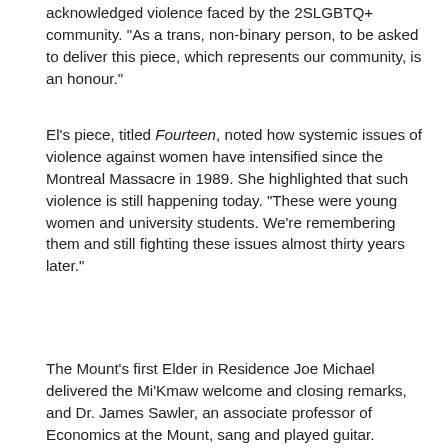acknowledged violence faced by the 2SLGBTQ+ community. "As a trans, non-binary person, to be asked to deliver this piece, which represents our community, is an honour."
El’s piece, titled Fourteen, noted how systemic issues of violence against women have intensified since the Montreal Massacre in 1989. She highlighted that such violence is still happening today. “These were young women and university students. We’re remembering them and still fighting these issues almost thirty years later.”
The Mount’s first Elder in Residence Joe Michael delivered the Mi’Kmaw welcome and closing remarks, and Dr. James Sawler, an associate professor of Economics at the Mount, sang and played guitar.
[Figure (photo): A woman speaking at a podium, with the Mount Saint Vincent University logo visible on the podium and an Alexa McDonough Institute sign in the background, along with framed photographs on a table.]